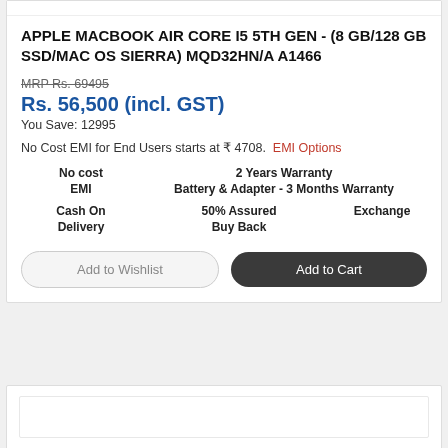APPLE MACBOOK AIR CORE I5 5TH GEN - (8 GB/128 GB SSD/MAC OS SIERRA) MQD32HN/A A1466
MRP Rs. 69495
Rs. 56,500 (incl. GST)
You Save: 12995
No Cost EMI for End Users starts at ₹ 4708.  EMI Options
No cost EMI
2 Years Warranty
Battery & Adapter - 3 Months Warranty
Cash On Delivery
50% Assured Buy Back
Exchange
Add to Wishlist   Add to Cart